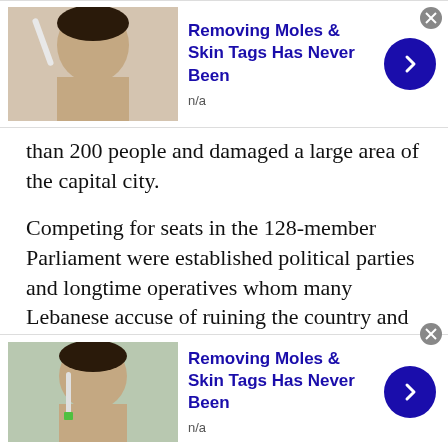[Figure (screenshot): Advertisement banner: 'Removing Moles & Skin Tags Has Never Been' with photo of woman, n/a label, blue arrow button, and X close button.]
than 200 people and damaged a large area of the capital city.
Competing for seats in the 128-member Parliament were established political parties and longtime operatives whom many Lebanese accuse of ruining the country and a range of new figures who promised change.
The results removed a few bricks from the old order, but fell far short of starting a sweeping overhaul of who exercises power in the small
[Figure (screenshot): Advertisement banner: 'Removing Moles & Skin Tags Has Never Been' with photo of woman, n/a label, blue arrow button, and X close button.]